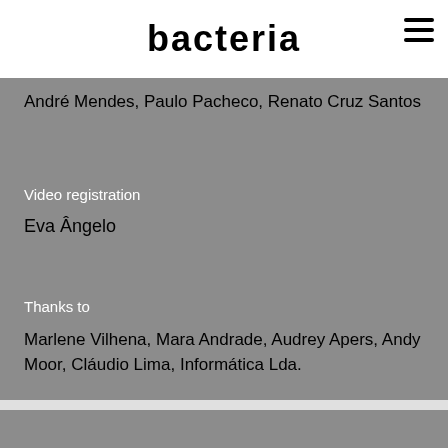bacteria
André Mendes, Paulo Pacheco, Renato Cruz Santos
Video registration
Eva Ângelo
Thanks to
Marlene Vilhena, Mara Andrade, Audrey Apers, Andy Moor, Cláudio Lima, Informática Lda.